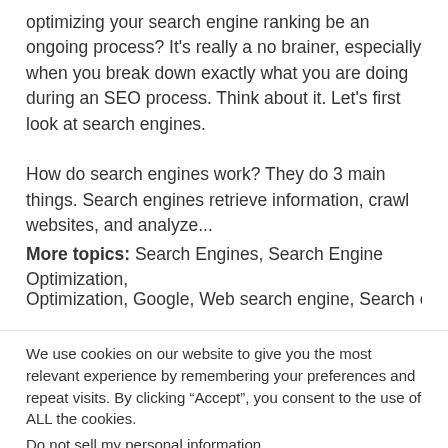optimizing your search engine ranking be an ongoing process? It's really a no brainer, especially when you break down exactly what you are doing during an SEO process. Think about it. Let's first look at search engines.
How do search engines work? They do 3 main things. Search engines retrieve information, crawl websites, and analyze...
More topics: Search Engines, Search Engine Optimization, Optimization, Google, Web search engine, Search engine...
We use cookies on our website to give you the most relevant experience by remembering your preferences and repeat visits. By clicking “Accept”, you consent to the use of ALL the cookies.
Do not sell my personal information.
Cookie Settings   Accept